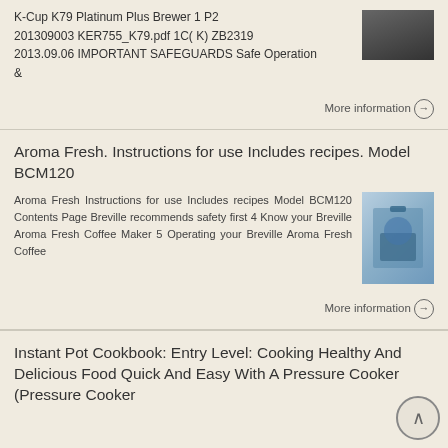K-Cup K79 Platinum Plus Brewer 1 P2 201309003 KER755_K79.pdf 1C( K) ZB2319 2013.09.06 IMPORTANT SAFEGUARDS Safe Operation &
More information →
Aroma Fresh. Instructions for use Includes recipes. Model BCM120
Aroma Fresh Instructions for use Includes recipes Model BCM120 Contents Page Breville recommends safety first 4 Know your Breville Aroma Fresh Coffee Maker 5 Operating your Breville Aroma Fresh Coffee
More information →
Instant Pot Cookbook: Entry Level: Cooking Healthy And Delicious Food Quick And Easy With A Pressure Cooker (Pressure Cooker